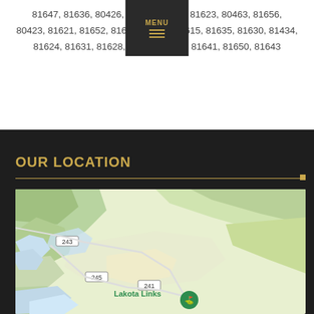81647, 81636, 80426, 81428, 81647, 81623, 80463, 81656, 80423, 81621, 81652, 81611, 81601, 81615, 81635, 81630, 81434, 81624, 81631, 81628, 81637, 81654, 81641, 81650, 81643
OUR LOCATION
[Figure (map): Google Maps view showing Lakota Links golf course location near routes 243, 245, and 241 in a mountainous/hilly terrain area.]